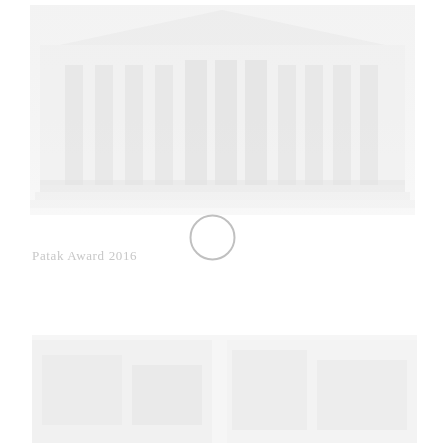[Figure (photo): Faded/washed-out image of a large neoclassical building or government structure, very light gray on white background, spanning the upper portion of the page]
[Figure (other): A small circle/ring outline, positioned centrally below the top image, appearing as a medal or award emblem ring]
Patak Award 2016
[Figure (photo): Faded/washed-out image in the lower portion of the page, appearing to show architectural or landscape scenes, very light gray tones on white background]